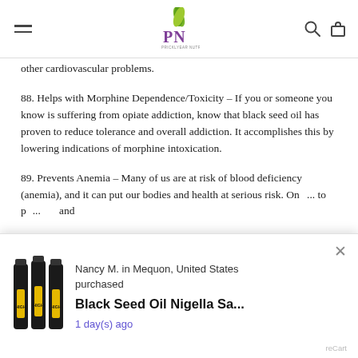Pricklyear Nutrition logo with navigation icons
other cardiovascular problems.
88. Helps with Morphine Dependence/Toxicity – If you or someone you know is suffering from opiate addiction, know that black seed oil has proven to reduce tolerance and overall addiction. It accomplishes this by lowering indications of morphine intoxication.
89. Prevents Anemia – Many of us are at risk of blood deficiency (anemia), and it can put our bodies and health at serious risk. One... to p... ses and...
90. Protects Brain Damage from Parkinson's Disease – The...
[Figure (screenshot): Popup notification: Nancy M. in Mequon, United States purchased Black Seed Oil Nigella Sa... 1 day(s) ago, with product image and close button. Powered by Recart.]